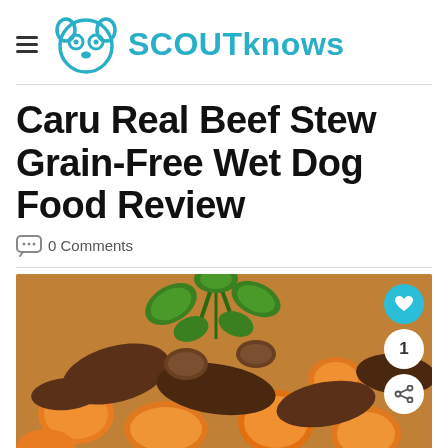ScoutKnows
Caru Real Beef Stew Grain-Free Wet Dog Food Review
0 Comments
[Figure (photo): Close-up photo of a beef stew with orange vegetables (carrots/sweet potato), mushrooms, and fresh parsley/herb garnish in a broth sauce]